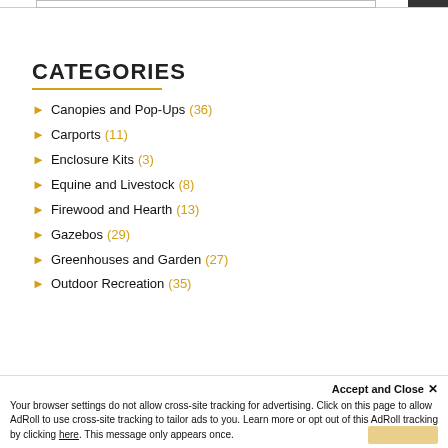CATEGORIES
Canopies and Pop-Ups (36)
Carports (11)
Enclosure Kits (3)
Equine and Livestock (8)
Firewood and Hearth (13)
Gazebos (29)
Greenhouses and Garden (27)
Outdoor Recreation (35)
Accept and Close ✕
Your browser settings do not allow cross-site tracking for advertising. Click on this page to allow AdRoll to use cross-site tracking to tailor ads to you. Learn more or opt out of this AdRoll tracking by clicking here. This message only appears once.